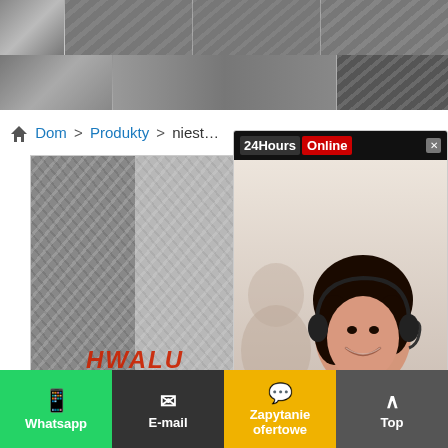[Figure (photo): Strip of diamond-plate aluminum sheet photos forming a banner at the top of the page]
[Figure (photo): Chat popup with woman wearing headset, 24Hours Online badge, and Click To Chat button]
Dom > Produkty > niestandardowa alumn...
[Figure (photo): Large product image of HWALU (Henan Huawei Aluminum Co., Ltd.) diamond-plate aluminum sheets, two-tone showing different finishes, watermarked logo]
Whatsapp | E-mail | Zapytanie ofertowe | Top